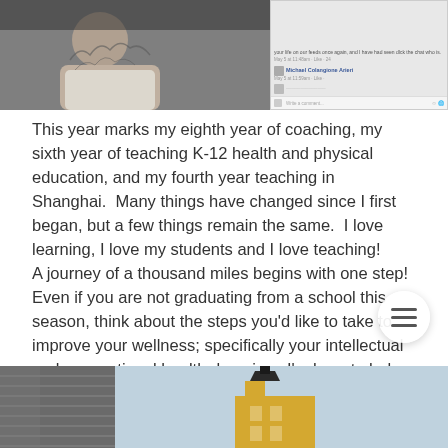[Figure (photo): Top composite image: left side shows a person holding a cracked-earth textured object, right side shows a Facebook comment section screenshot]
This year marks my eighth year of coaching, my sixth year of teaching K-12 health and physical education, and my fourth year teaching in Shanghai.  Many things have changed since I first began, but a few things remain the same.  I love learning, I love my students and I love teaching!
A journey of a thousand miles begins with one step!  Even if you are not graduating from a school this season, think about the steps you'd like to take to improve your wellness; specifically your intellectual and occupational health domains.  I'm here to help you achieve your goals!  Please don't hesitate to ask for advice!
[Figure (photo): Bottom image: left side shows a grey building facade with horizontal lines, right side shows a light blue sky with a yellow building or structure]